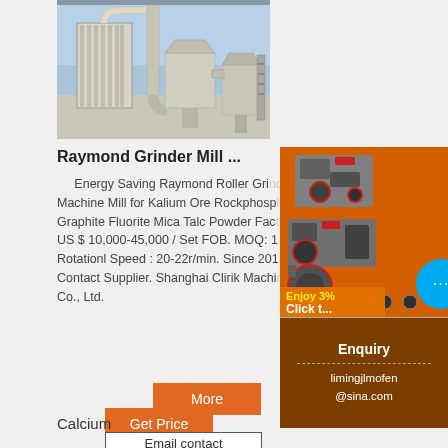[Figure (photo): Industrial Raymond Grinder Mill equipment with large cylindrical dust collector, pipes, and silos against a blue sky]
Raymond Grinder Mill ...
Energy Saving Raymond Roller Grinding Machine Mill for Kalium Ore Rockphosphate Graphite Fluorite Mica Talc Powder Factory. US $ 10,000-45,000 / Set FOB. MOQ: 1. Rotationl Speed : 20-22r/min. Since 2018. Contact Supplier. Shanghai Clirik Machinery Co., Ltd.
[Figure (photo): Sidebar advertisement showing industrial machinery equipment on orange background with Enjoy 3% text and Click to button]
Enquiry
limingjlmofen@sina.com
More
Get Price
Calcium
Email contact